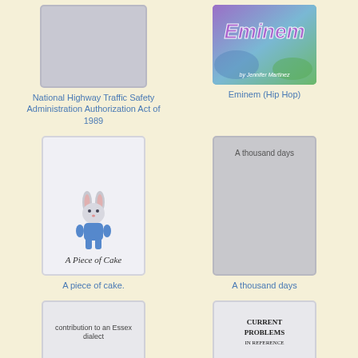[Figure (illustration): Book cover placeholder - National Highway Traffic Safety Administration Authorization Act of 1989]
National Highway Traffic Safety Administration Authorization Act of 1989
[Figure (illustration): Book cover - Eminem (Hip Hop) with colorful text]
Eminem (Hip Hop)
[Figure (illustration): Book cover - A Piece of Cake with rabbit illustration]
A piece of cake.
[Figure (illustration): Book cover placeholder - A thousand days]
A thousand days
[Figure (illustration): Book cover - contribution to an Essex dialect]
[Figure (illustration): Book cover - Current Problems in Reference]